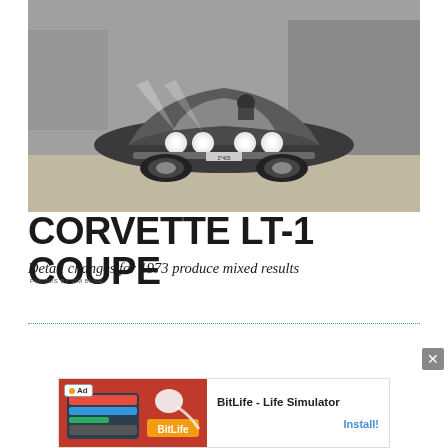[Figure (photo): Black and white photograph of a Corvette LT-1 Coupe sports car driving on a road, front three-quarter view with headlights on, rocky terrain in background.]
CORVETTE LT-1 COUPE
Detail changes for 1973 produce mixed results
PHOTOS BY JIM BUSE
[Figure (other): Advertisement for BitLife - Life Simulator app. Red background with app imagery on the left, app name and Install button on the right. 'Ad' badge visible.]